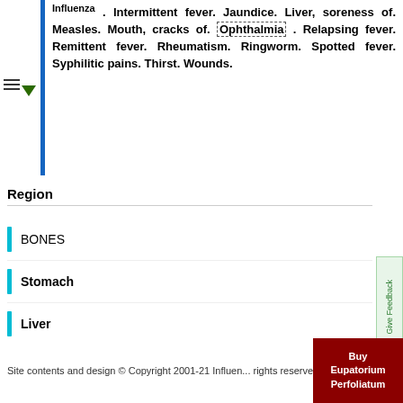Influenza. Intermittent fever. Jaundice. Liver, soreness of. Measles. Mouth, cracks of. Ophthalmia. Relapsing fever. Remittent fever. Rheumatism. Ringworm. Spotted fever. Syphilitic pains. Thirst. Wounds.
Region
BONES
Stomach
Liver
Occiput
Bronchiae
Muscles Chest Back Limbs
Site contents and design © Copyright 2001-21 Influen... rights reserved.